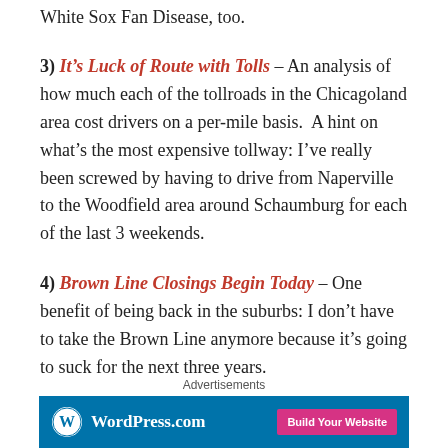White Sox Fan Disease, too.
3) It's Luck of Route with Tolls – An analysis of how much each of the tollroads in the Chicagoland area cost drivers on a per-mile basis.  A hint on what's the most expensive tollway: I've really been screwed by having to drive from Naperville to the Woodfield area around Schaumburg for each of the last 3 weekends.
4) Brown Line Closings Begin Today – One benefit of being back in the suburbs: I don't have to take the Brown Line anymore because it's going to suck for the next three years.
Advertisements
[Figure (other): WordPress.com advertisement banner with logo and 'Build Your Website' call-to-action button]